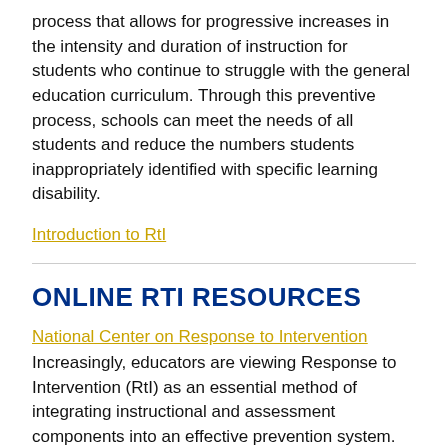process that allows for progressive increases in the intensity and duration of instruction for students who continue to struggle with the general education curriculum. Through this preventive process, schools can meet the needs of all students and reduce the numbers students inappropriately identified with specific learning disability.
Introduction to RtI
ONLINE RTI RESOURCES
National Center on Response to Intervention
Increasingly, educators are viewing Response to Intervention (RtI) as an essential method of integrating instructional and assessment components into an effective prevention system.